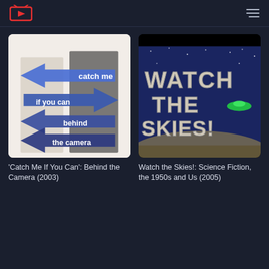[Figure (screenshot): Movie thumbnail for 'Catch Me If You Can': Behind the Camera (2003) — white background with two men in suits standing back to back, overlaid with blue arrows pointing left and right, and text: catch me, if you can, behind, the camera]
'Catch Me If You Can': Behind the Camera (2003)
[Figure (screenshot): Movie thumbnail for Watch the Skies!: Science Fiction, the 1950s and Us (2005) — dark space background with large 3D text 'WATCH THE SKIES!' and a flying saucer]
Watch the Skies!: Science Fiction, the 1950s and Us (2005)